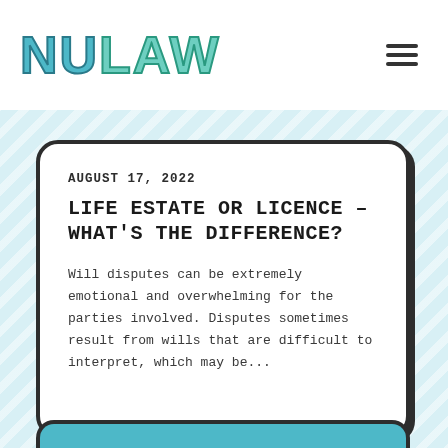NULAW
AUGUST 17, 2022
LIFE ESTATE OR LICENCE – WHAT'S THE DIFFERENCE?
Will disputes can be extremely emotional and overwhelming for the parties involved. Disputes sometimes result from wills that are difficult to interpret, which may be...